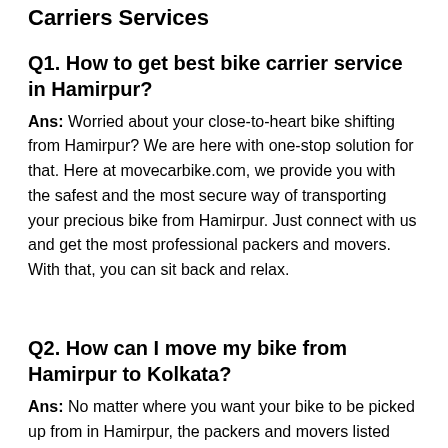Carriers Services
Q1. How to get best bike carrier service in Hamirpur?
Ans: Worried about your close-to-heart bike shifting from Hamirpur? We are here with one-stop solution for that. Here at movecarbike.com, we provide you with the safest and the most secure way of transporting your precious bike from Hamirpur. Just connect with us and get the most professional packers and movers. With that, you can sit back and relax.
Q2. How can I move my bike from Hamirpur to Kolkata?
Ans: No matter where you want your bike to be picked up from in Hamirpur, the packers and movers listed with us are ever ready to help you round the clock. Along with constant assistance, we provide the assurance of the safe delivery of your asset at your doorstep.